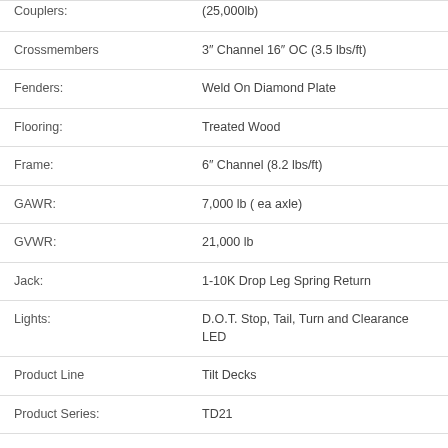| Attribute | Value |
| --- | --- |
| Couplers: | (25,000lb) |
| Crossmembers | 3" Channel 16" OC (3.5 lbs/ft) |
| Fenders: | Weld On Diamond Plate |
| Flooring: | Treated Wood |
| Frame: | 6" Channel (8.2 lbs/ft) |
| GAWR: | 7,000 lb ( ea axle) |
| GVWR: | 21,000 lb |
| Jack: | 1-10K Drop Leg Spring Return |
| Lights: | D.O.T. Stop, Tail, Turn and Clearance LED |
| Product Line | Tilt Decks |
| Product Series: | TD21 |